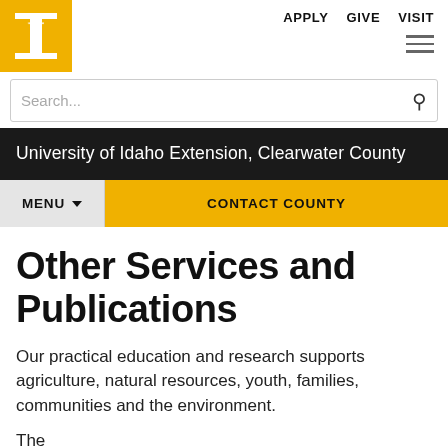[Figure (logo): University of Idaho gold block 'I' logo on yellow background]
APPLY   GIVE   VISIT
Search...
University of Idaho Extension, Clearwater County
MENU   CONTACT COUNTY
Other Services and Publications
Our practical education and research supports agriculture, natural resources, youth, families, communities and the environment.
The...